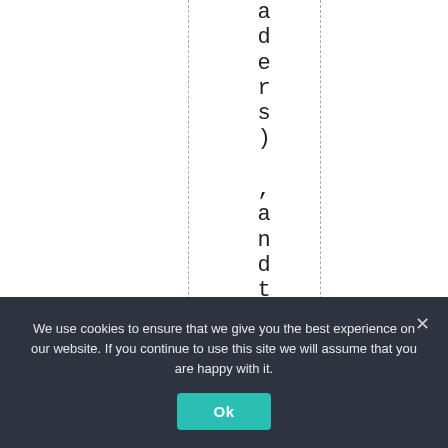aders) ,andthat" ...th
We use cookies to ensure that we give you the best experience on our website. If you continue to use this site we will assume that you are happy with it. Ok